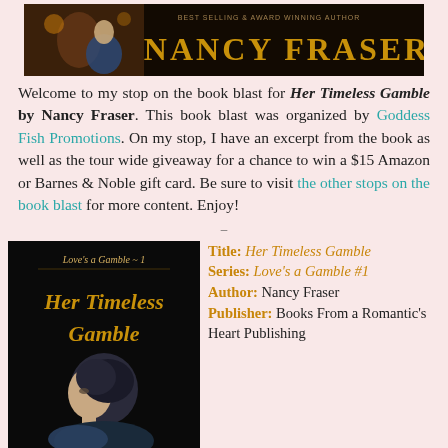[Figure (illustration): Book banner showing a woman in a blue dress and the author name Nancy Fraser in gold art deco font on a dark background]
Welcome to my stop on the book blast for Her Timeless Gamble by Nancy Fraser. This book blast was organized by Goddess Fish Promotions. On my stop, I have an excerpt from the book as well as the tour wide giveaway for a chance to win a $15 Amazon or Barnes & Noble gift card. Be sure to visit the other stops on the book blast for more content. Enjoy!
[Figure (illustration): Book cover for Her Timeless Gamble, Love's a Gamble #1. Black background with gold cursive title text and a woman with dark hair in profile.]
Title: Her Timeless Gamble
Series: Love's a Gamble #1
Author: Nancy Fraser
Publisher: Books From a Romantic's Heart Publishing